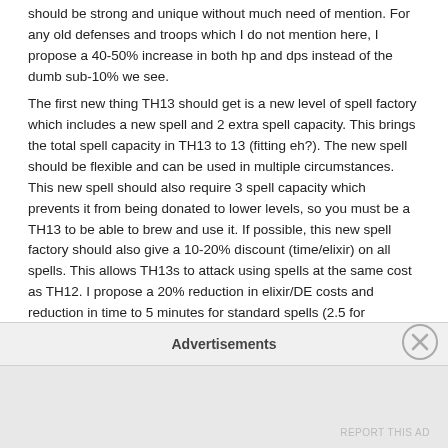should be strong and unique without much need of mention. For any old defenses and troops which I do not mention here, I propose a 40-50% increase in both hp and dps instead of the dumb sub-10% we see.
The first new thing TH13 should get is a new level of spell factory which includes a new spell and 2 extra spell capacity. This brings the total spell capacity in TH13 to 13 (fitting eh?). The new spell should be flexible and can be used in multiple circumstances. This new spell should also require 3 spell capacity which prevents it from being donated to lower levels, so you must be a TH13 to be able to brew and use it. If possible, this new spell factory should also give a 10-20% discount (time/elixir) on all spells. This allows TH13s to attack using spells at the same cost as TH12. I propose a 20% reduction in elixir/DE costs and reduction in time to 5 minutes for standard spells (2.5 for freeze/poison etc and 7.5min for clone).
The next new thing is a new siege machine unlocked at lvl4 workshop. Again, it should be really strong and worth using. The new siege machine would require 2 space to use, so it cannot be donated to TH10-12. This prevents power creep at TH10/11 and allows fine tune balancing of this siege machine without consideration of TH10/11. The problem of the wall wrecker and stone slammer was that it had to be balanced around TH10. This was the main.
Advertisements